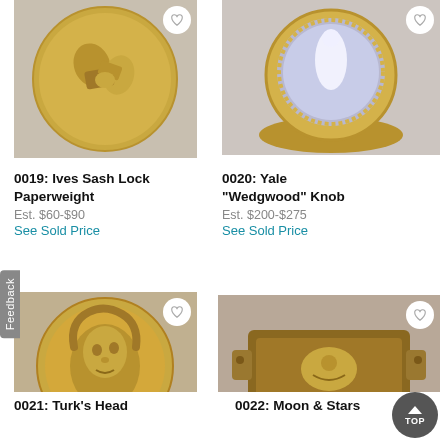[Figure (photo): Antique gold-toned Ives Sash Lock Paperweight on beige background, heart button top right]
[Figure (photo): Antique gold Yale Wedgwood Knob with blue and white cameo figure, heart button top right]
0019: Ives Sash Lock Paperweight
Est. $60-$90
See Sold Price
0020: Yale "Wedgwood" Knob
Est. $200-$275
See Sold Price
[Figure (photo): Antique gold Turk's Head decorative knob with face in relief, heart button top right]
[Figure (photo): Antique brass Moon and Stars Rim Bolt, rectangular with decorative hardware, heart button top right, TOP button bottom right]
0021: Turk's Head
0022: Moon & Stars